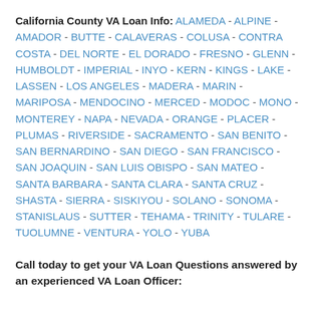California County VA Loan Info: ALAMEDA - ALPINE - AMADOR - BUTTE - CALAVERAS - COLUSA - CONTRA COSTA - DEL NORTE - EL DORADO - FRESNO - GLENN - HUMBOLDT - IMPERIAL - INYO - KERN - KINGS - LAKE - LASSEN - LOS ANGELES - MADERA - MARIN - MARIPOSA - MENDOCINO - MERCED - MODOC - MONO - MONTEREY - NAPA - NEVADA - ORANGE - PLACER - PLUMAS - RIVERSIDE - SACRAMENTO - SAN BENITO - SAN BERNARDINO - SAN DIEGO - SAN FRANCISCO - SAN JOAQUIN - SAN LUIS OBISPO - SAN MATEO - SANTA BARBARA - SANTA CLARA - SANTA CRUZ - SHASTA - SIERRA - SISKIYOU - SOLANO - SONOMA - STANISLAUS - SUTTER - TEHAMA - TRINITY - TULARE - TUOLUMNE - VENTURA - YOLO - YUBA
Call today to get your VA Loan Questions answered by an experienced VA Loan Officer: